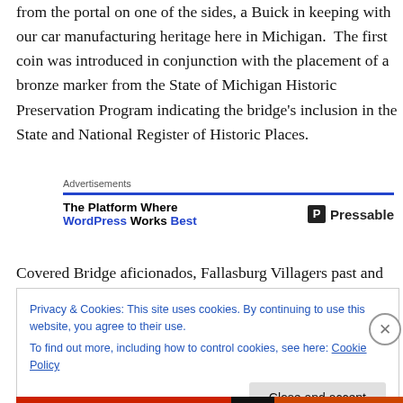from the portal on one of the sides, a Buick in keeping with our car manufacturing heritage here in Michigan.  The first coin was introduced in conjunction with the placement of a bronze marker from the State of Michigan Historic Preservation Program indicating the bridge's inclusion in the State and National Register of Historic Places.
[Figure (screenshot): Advertisement banner: 'The Platform Where WordPress Works Best' with Pressable logo]
Covered Bridge aficionados, Fallasburg Villagers past and
Privacy & Cookies: This site uses cookies. By continuing to use this website, you agree to their use.
To find out more, including how to control cookies, see here: Cookie Policy
Close and accept